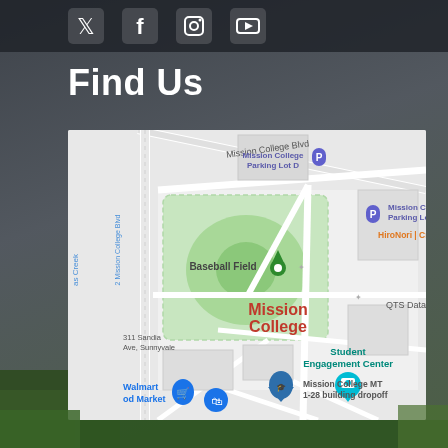[Figure (other): Social media icons bar at top: Twitter, Facebook, Instagram, YouTube]
Find Us
[Figure (map): Google Maps screenshot showing Mission College campus in Sunnyvale/Santa Clara area. Shows Mission College Blvd, Mission College Parking Lot D, Baseball Field, Mission College main label in red, Student Engagement Center in teal, HiroNori Craft, QTS Data, Mission College MT 1-28 building dropoff, Walmart Food Market, and a camera/photo pin on the campus.]